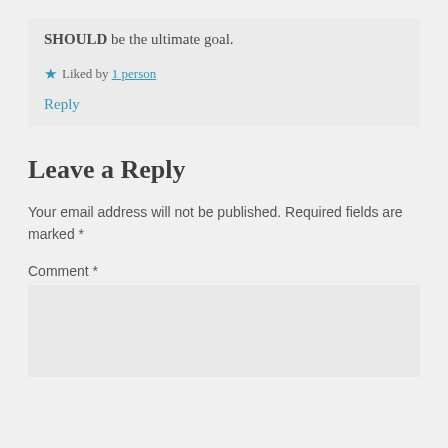SHOULD be the ultimate goal.
★ Liked by 1 person
Reply
Leave a Reply
Your email address will not be published. Required fields are marked *
Comment *